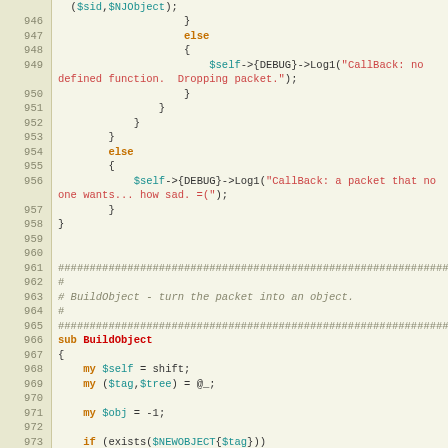Source code listing, lines 945-975, Perl code showing callback and BuildObject function